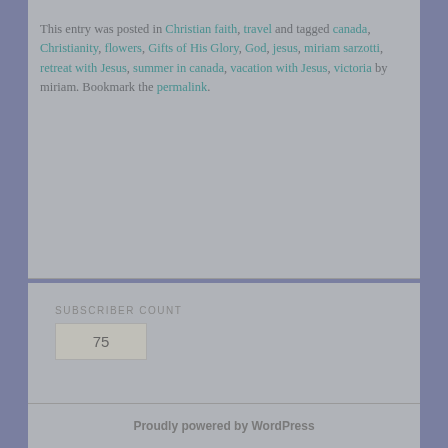This entry was posted in Christian faith, travel and tagged canada, Christianity, flowers, Gifts of His Glory, God, jesus, miriam sarzotti, retreat with Jesus, summer in canada, vacation with Jesus, victoria by miriam. Bookmark the permalink.
SUBSCRIBER COUNT
75
Proudly powered by WordPress